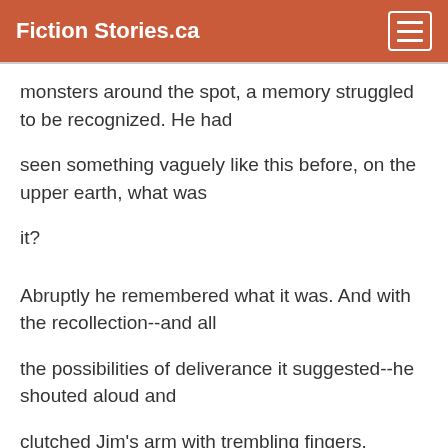Fiction Stories.ca
monsters around the spot, a memory struggled to be recognized. He had
seen something vaguely like this before, on the upper earth, what was
it?
Abruptly he remembered what it was. And with the recollection--and all
the possibilities of deliverance it suggested--he shouted aloud and
clutched Jim's arm with trembling fingers.